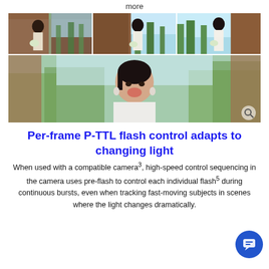more
[Figure (photo): Grid of wedding photos showing a woman in a white dress. Top row: three thumbnails of woman posing near a wooden door with trees in background. Bottom: wide photo of woman laughing with blurred background of trees.]
Per-frame P-TTL flash control adapts to changing light
When used with a compatible camera³, high-speed control sequencing in the camera uses pre-flash to control each individual flash⁵ during continuous bursts, even when tracking fast-moving subjects in scenes where the light changes dramatically.